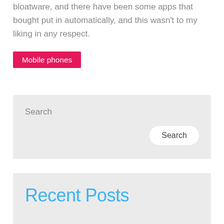bloatware, and there have been some apps that bought put in automatically, and this wasn't to my liking in any respect.
Mobile phones
Search
Search
Recent Posts